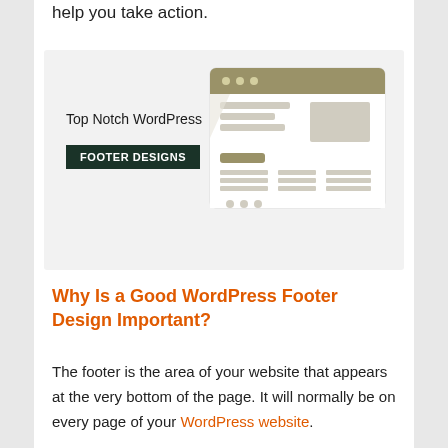help you take action.
[Figure (illustration): Illustration of a browser window showing a webpage with a labeled footer area. Text on the left reads 'Top Notch WordPress' with a dark green badge below reading 'FOOTER DESIGNS'. The right side shows a stylized browser window with content blocks and a footer section.]
Why Is a Good WordPress Footer Design Important?
The footer is the area of your website that appears at the very bottom of the page. It will normally be on every page of your WordPress website.